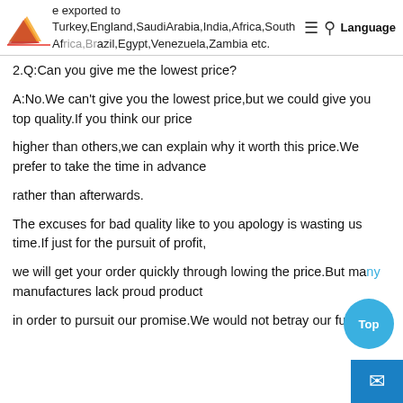A: e exported to Turkey,England,SaudiArabia,India,Africa,South Africa,Brazil,Egypt,Venezuela,Zambia etc.
2.Q:Can you give me the lowest price?
A:No.We can't give you the lowest price,but we could give you top quality.If you think our price
higher than others,we can explain why it worth this price.We prefer to take the time in advance
rather than afterwards.
The excuses for bad quality like to you apology is wasting us time.If just for the pursuit of profit,
we will get your order quickly through lowing the price.But many manufactures lack proud product
in order to pursuit our promise.We would not betray our future be